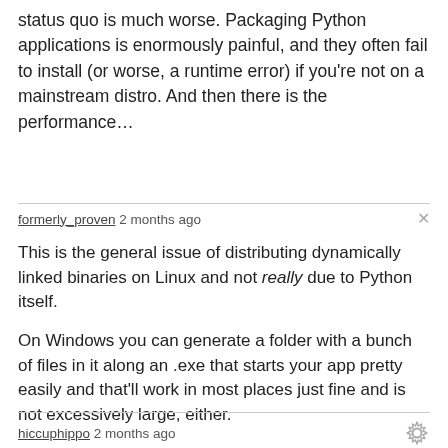status quo is much worse. Packaging Python applications is enormously painful, and they often fail to install (or worse, a runtime error) if you're not on a mainstream distro. And then there is the performance…
formerly_proven 2 months ago
This is the general issue of distributing dynamically linked binaries on Linux and not really due to Python itself.

On Windows you can generate a folder with a bunch of files in it along an .exe that starts your app pretty easily and that'll work in most places just fine and is not excessively large, either.
hiccuphippo 2 months ago